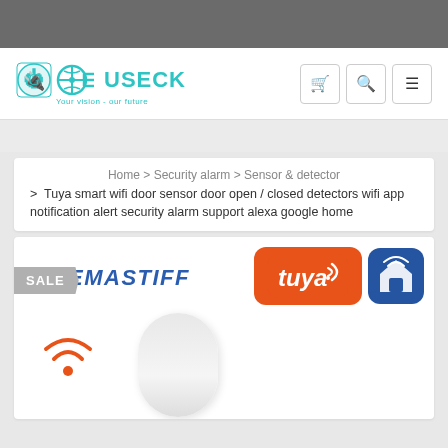[Figure (logo): USECK brand logo with teal icon and tagline 'Your vision - our future']
Home > Security alarm > Sensor & detector > Tuya smart wifi door sensor door open / closed detectors wifi app notification alert security alarm support alexa google home
[Figure (photo): Product listing image showing EMASTIFF brand name, Tuya and smart home app logos, a white door sensor device, wifi signal icon, and SALE badge]